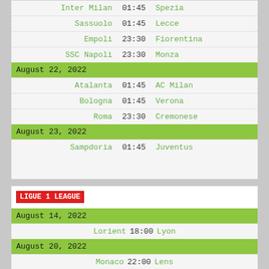| Home | Time | Away |
| --- | --- | --- |
| Inter Milan | 01:45 | Spezia |
| Sassuolo | 01:45 | Lecce |
| Empoli | 23:30 | Fiorentina |
| SSC Napoli | 23:30 | Monza |
| [August 22, 2022] |  |  |
| Atalanta | 01:45 | AC Milan |
| Bologna | 01:45 | Verona |
| Roma | 23:30 | Cremonese |
| [August 23, 2022] |  |  |
| Sampdoria | 01:45 | Juventus |
LIGUE 1 LEAGUE
| Home | Time | Away |
| --- | --- | --- |
| [August 14, 2022] |  |  |
| Lorient | 18:00 | Lyon |
| [August 20, 2022] |  |  |
| Monaco | 22:00 | Lens |